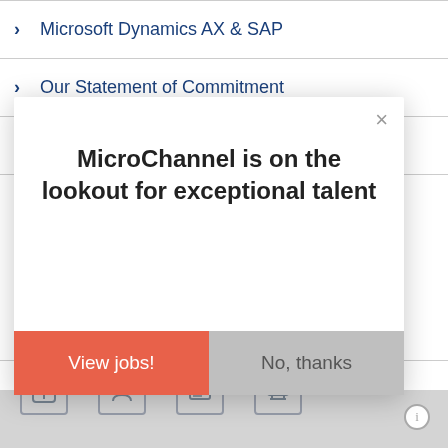Microsoft Dynamics AX & SAP
Our Statement of Commitment
SAGlobal Partnership
Partner
[Figure (logo): Microsoft logo with four colored squares (red, green, blue, yellow) and the word Microsoft]
What is Microso
Body text about Microsoft partnership (partially visible)
MicroChannel is on the lookout for exceptional talent
View jobs!
No, thanks